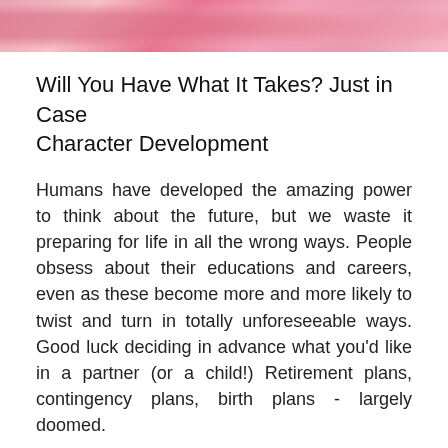[Figure (photo): Cropped photo showing pink/rose colored fabric or clothing at the top of the page]
Will You Have What It Takes? Just in Case Character Development
Humans have developed the amazing power to think about the future, but we waste it preparing for life in all the wrong ways. People obsess about their educations and careers, even as these become more and more likely to twist and turn in totally unforeseeable ways. Good luck deciding in advance what you'd like in a partner (or a child!) Retirement plans, contingency plans, birth plans - largely doomed.
The only preparation worth making for an uncertain future is continuous improvement in